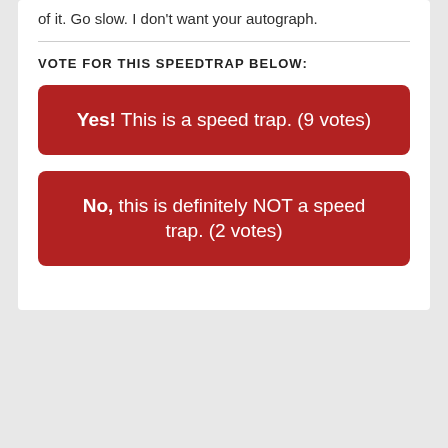of it. Go slow. I don't want your autograph.
VOTE FOR THIS SPEEDTRAP BELOW:
Yes! This is a speed trap. (9 votes)
No, this is definitely NOT a speed trap. (2 votes)